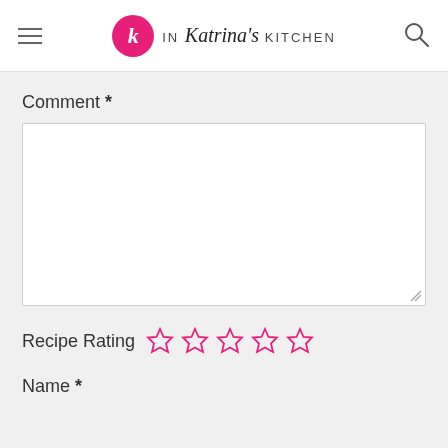IN Katrina's KITCHEN
Comment *
[Figure (screenshot): Empty comment text area input box with resize handle]
Recipe Rating ☆☆☆☆☆
Name *